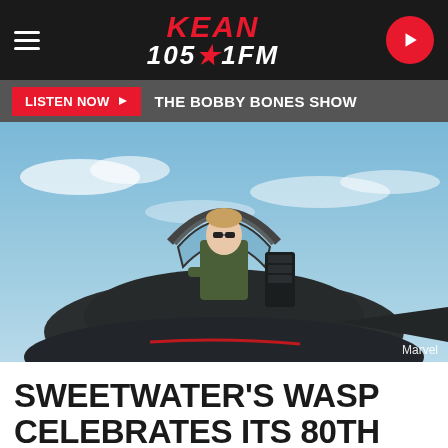KEAN 105.1FM
LISTEN NOW ▶  THE BOBBY BONES SHOW
[Figure (photo): Person in flight suit standing in cockpit of military jet fighter aircraft against blue sky. Credit: Marvel]
SWEETWATER'S WASP CELEBRATES ITS 80TH BIRTHDAY